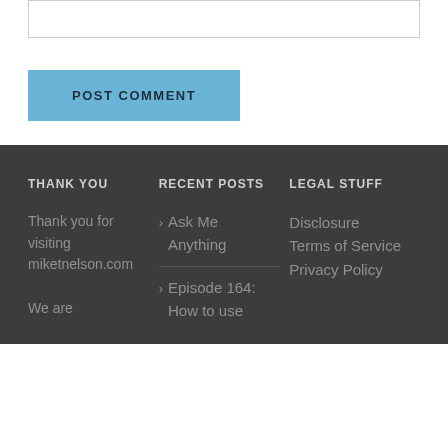[input box]
POST COMMENT
THANK YOU
RECENT POSTS
LEGAL STUFF
Thank you for visiting miketnelson.com
Ask Me Anything
Episode 164: How to use
Disclosure
Terms of Service
Privacy Policy
We are